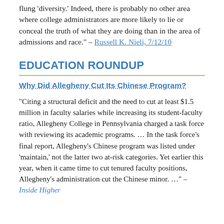flung 'diversity.' Indeed, there is probably no other area where college administrators are more likely to lie or conceal the truth of what they are doing than in the area of admissions and race." – Russell K. Nieli, 7/12/10
EDUCATION ROUNDUP
Why Did Allegheny Cut Its Chinese Program?
"Citing a structural deficit and the need to cut at least $1.5 million in faculty salaries while increasing its student-faculty ratio, Allegheny College in Pennsylvania charged a task force with reviewing its academic programs. ... In the task force's final report, Allegheny's Chinese program was listed under 'maintain,' not the latter two at-risk categories. Yet earlier this year, when it came time to cut tenured faculty positions, Allegheny's administration cut the Chinese minor. ..." – Inside Higher